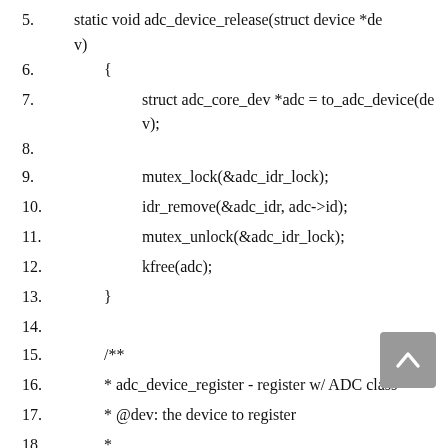5.    static void adc_device_release(struct device *dev)
6.    {
7.        struct adc_core_dev *adc = to_adc_device(dev);
8.
9.        mutex_lock(&adc_idr_lock);
10.       idr_remove(&adc_idr, adc->id);
11.       mutex_unlock(&adc_idr_lock);
12.       kfree(adc);
13.   }
14.
15.   /**
16.   * adc_device_register - register w/ ADC class
17.   * @dev: the device to register
18.   *
19.   * adc_device_unregister() must be called when